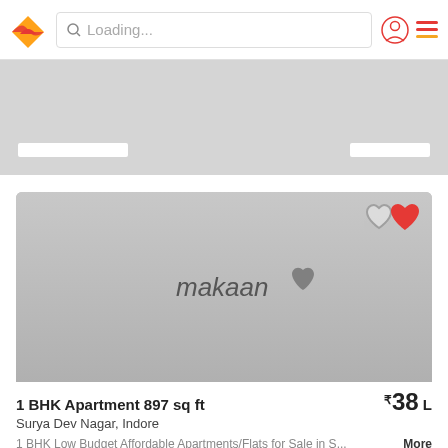Loading...
[Figure (screenshot): Gray banner placeholder area with two white skeleton loader bars]
[Figure (photo): Makaan.com property listing placeholder image in gray with makaan logo watermark and heart/favorite icons overlay]
1 BHK Apartment 897 sq ft  ₹38 L
Surya Dev Nagar, Indore
1 BHK Low Budget Affordable Apartments/Flats for Sale in S...  More
Tanishq Properties